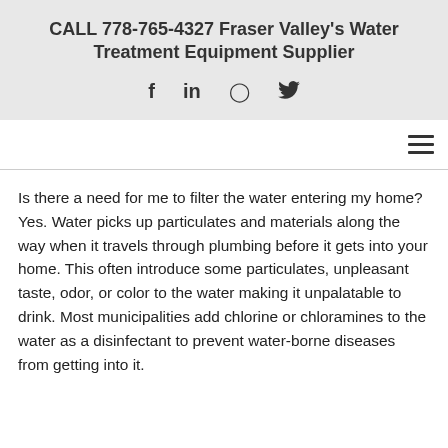CALL 778-765-4327 Fraser Valley's Water Treatment Equipment Supplier
[Figure (other): Social media icons: Facebook (f), LinkedIn (in), Instagram (camera), Twitter (bird)]
Is there a need for me to filter the water entering my home? Yes. Water picks up particulates and materials along the way when it travels through plumbing before it gets into your home. This often introduce some particulates, unpleasant taste, odor, or color to the water making it unpalatable to drink. Most municipalities add chlorine or chloramines to the water as a disinfectant to prevent water-borne diseases from getting into it.